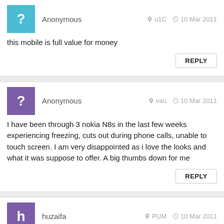Anonymous   u1C   10 Mar 2011
this mobile is full value for money
REPLY
Anonymous   vau   10 Mar 2011
I have been through 3 nokia N8s in the last few weeks experiencing freezing, cuts out during phone calls, unable to touch screen. I am very disappointed as i love the looks and what it was suppose to offer. A big thumbs down for me
REPLY
huzaifa   PUM   10 Mar 2011